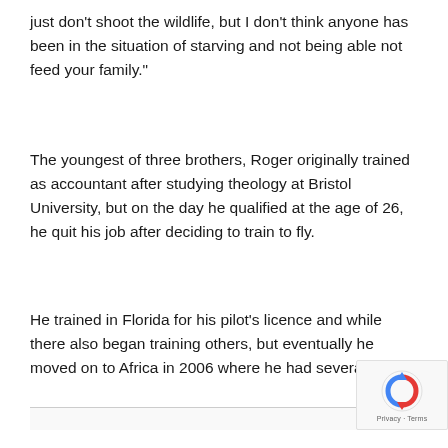just don't shoot the wildlife, but I don't think anyone has been in the situation of starving and not being able not feed your family."
The youngest of three brothers, Roger originally trained as accountant after studying theology at Bristol University, but on the day he qualified at the age of 26, he quit his job after deciding to train to fly.
He trained in Florida for his pilot's licence and while there also began training others, but eventually he moved on to Africa in 2006 where he had several jobs.
Privacy · Terms